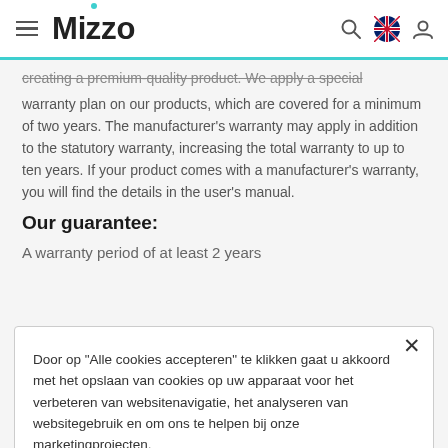Mizzo — navigation header with hamburger menu, logo, search, flag, and user icons
creating a premium-quality product. We apply a special warranty plan on our products, which are covered for a minimum of two years. The manufacturer's warranty may apply in addition to the statutory warranty, increasing the total warranty to up to ten years. If your product comes with a manufacturer's warranty, you will find the details in the user's manual.
Our guarantee:
A warranty period of at least 2 years
Door op "Alle cookies accepteren" te klikken gaat u akkoord met het opslaan van cookies op uw apparaat voor het verbeteren van websitenavigatie, het analyseren van websitegebruik en om ons te helpen bij onze marketingprojecten.